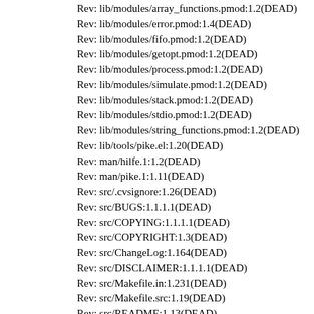Rev: lib/modules/array_functions.pmod:1.2(DEAD)
Rev: lib/modules/error.pmod:1.4(DEAD)
Rev: lib/modules/fifo.pmod:1.2(DEAD)
Rev: lib/modules/getopt.pmod:1.2(DEAD)
Rev: lib/modules/process.pmod:1.2(DEAD)
Rev: lib/modules/simulate.pmod:1.2(DEAD)
Rev: lib/modules/stack.pmod:1.2(DEAD)
Rev: lib/modules/stdio.pmod:1.2(DEAD)
Rev: lib/modules/string_functions.pmod:1.2(DEAD)
Rev: lib/tools/pike.el:1.20(DEAD)
Rev: man/hilfe.1:1.2(DEAD)
Rev: man/pike.1:1.11(DEAD)
Rev: src/.cvsignore:1.26(DEAD)
Rev: src/BUGS:1.1.1.1(DEAD)
Rev: src/COPYING:1.1.1.1(DEAD)
Rev: src/COPYRIGHT:1.3(DEAD)
Rev: src/ChangeLog:1.164(DEAD)
Rev: src/DISCLAIMER:1.1.1.1(DEAD)
Rev: src/Makefile.in:1.231(DEAD)
Rev: src/Makefile.src:1.19(DEAD)
Rev: src/README:1.13(DEAD)
Rev: src/UnicodeData-ReadMe.txt:1.2(DEAD)
Rev: src/UnicodeData.txt:1.2(DEAD)
Rev: src/acconfig.h:1.71(DEAD)
Rev: src/aclocal.m4:1.22(DEAD)